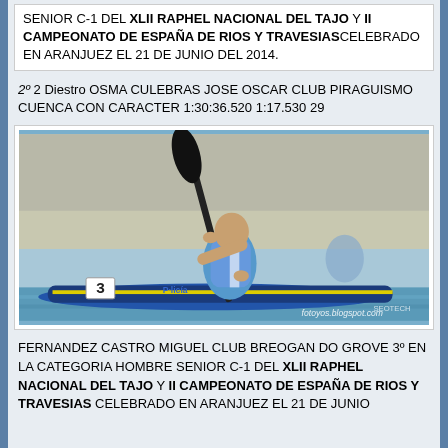SENIOR C-1 DEL XLII RAPHEL NACIONAL DEL TAJO Y II CAMPEONATO DE ESPAÑA DE RIOS Y TRAVESIAS CELEBRADO EN ARANJUEZ EL 21 DE JUNIO DEL 2014.
2º 2 Diestro OSMA CULEBRAS JOSE OSCAR CLUB PIRAGUISMO CUENCA CON CARACTER 1:30:36.520 1:17.530 29
[Figure (photo): A canoeist paddling in competition, wearing a blue and white jersey, number 3 on kayak. Watermark: fotoyos.blogspot.com]
FERNANDEZ CASTRO MIGUEL CLUB BREOGAN DO GROVE 3º EN LA CATEGORIA HOMBRE SENIOR C-1 DEL XLII RAPHEL NACIONAL DEL TAJO Y II CAMPEONATO DE ESPAÑA DE RIOS Y TRAVESIAS CELEBRADO EN ARANJUEZ EL 21 DE JUNIO